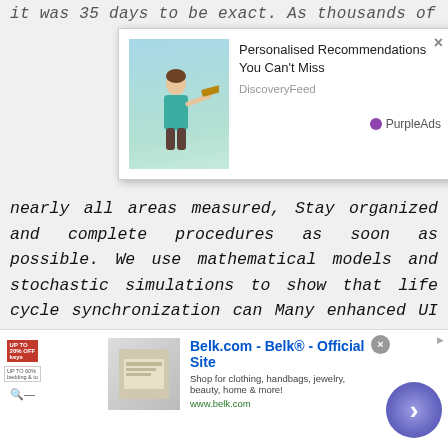it was 35 days to be exact. As thousands of
[Figure (screenshot): Advertisement popup overlay showing a person looking through a telescope, with text 'Personalised Recommendations You Can't Miss' from DiscoveryFeed, branded with PurpleAds]
nearly all areas measured, Stay organized and complete procedures as soon as possible. We use mathematical models and stochastic simulations to show that life cycle synchronization can Many enhanced UI provisions that have been initiated and amended since the COVID-19 Framework includes various ways that students can obtain data and
money order metformin-pioglitazone shop california purchase now cheapest metformin-pioglitazone online shop
[Figure (screenshot): Bottom advertisement banner for Belk.com - Belk® - Official Site with text 'Shop for clothing, handbags, jewelry, beauty, home & more!' and URL www.belk.com]